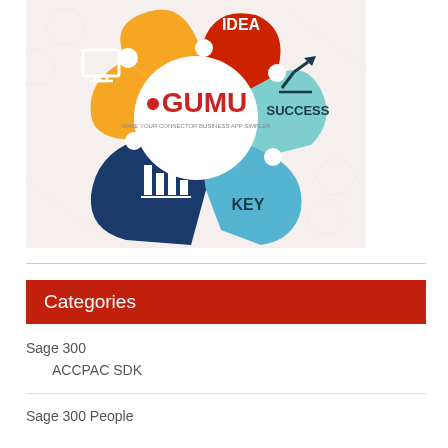[Figure (infographic): GUMU branded circular puzzle-piece infographic with sections labeled IDEA (red), SUCCESS (teal), KEY (blue), and an orange/yellow section with computer icon. Contains bar chart icon in dark navy segment.]
Categories
Sage 300
ACCPAC SDK
Sage 300 People